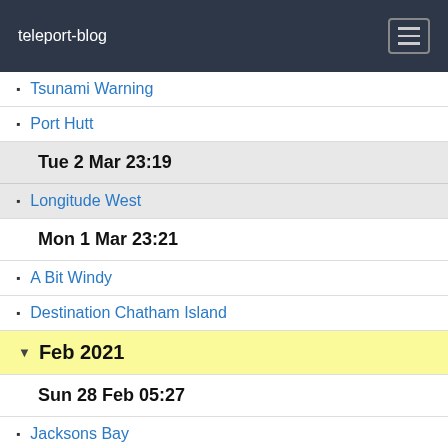teleport-blog
Tsunami Warning
Port Hutt
Tue 2 Mar 23:19
Longitude West
Mon 1 Mar 23:21
A Bit Windy
Destination Chatham Island
Feb 2021
Sun 28 Feb 05:27
Jacksons Bay
Sat 27 Feb 08:26
Picton
Tue 23 Feb 06:50
Waikawa Marina
Mon 22 Feb 00:46